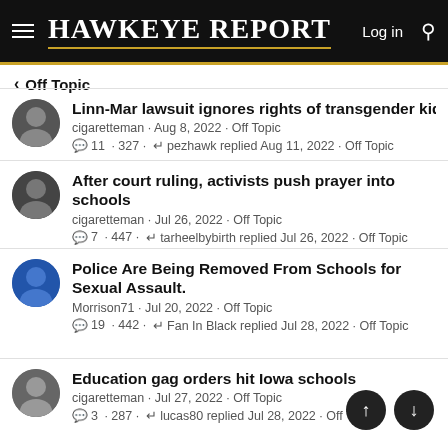HAWKEYE REPORT — Log in
< Off Topic
Linn-Mar lawsuit ignores rights of transgender kids
cigaretteman · Aug 8, 2022 · Off Topic
11 · 327 · pezhawk replied Aug 11, 2022 · Off Topic
After court ruling, activists push prayer into schools
cigaretteman · Jul 26, 2022 · Off Topic
7 · 447 · tarheelbybirth replied Jul 26, 2022 · Off Topic
Police Are Being Removed From Schools for Sexual Assault.
Morrison71 · Jul 20, 2022 · Off Topic
19 · 442 · Fan In Black replied Jul 28, 2022 · Off Topic
Education gag orders hit Iowa schools
cigaretteman · Jul 27, 2022 · Off Topic
3 · 287 · lucas80 replied Jul 28, 2022 · Off Topic